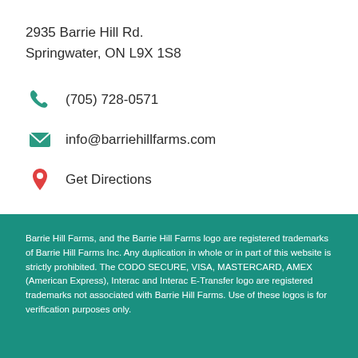2935 Barrie Hill Rd.
Springwater, ON L9X 1S8
(705) 728-0571
info@barriehillfarms.com
Get Directions
Barrie Hill Farms, and the Barrie Hill Farms logo are registered trademarks of Barrie Hill Farms Inc. Any duplication in whole or in part of this website is strictly prohibited. The CODO SECURE, VISA, MASTERCARD, AMEX (American Express), Interac and Interac E-Transfer logo are registered trademarks not associated with Barrie Hill Farms. Use of these logos is for verification purposes only.